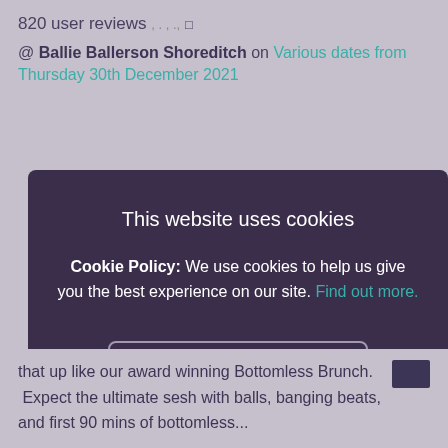820 user reviews , . , .,
@ Ballie Ballerson Shoreditch on Various dates from Thursday 30th December 2021
[Figure (screenshot): Cookie consent modal dialog with dark purple background. Title: 'This website uses cookies'. Body: 'Cookie Policy: We use cookies to help us give you the best experience on our site. Find out more.' Button: 'I ACCEPT'. Link: 'I DO NOT ACCEPT'.]
that up like our award winning Bottomless Brunch. Expect the ultimate sesh with balls, banging beats, and first 90 mins of bottomless...